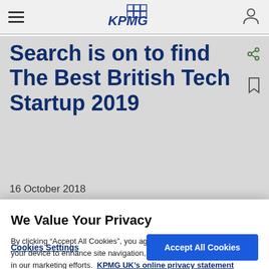KPMG
Search is on to find The Best British Tech Startup 2019
16 October 2018
We Value Your Privacy
By clicking “Accept All Cookies”, you agree to the storing of cookies on your device to enhance site navigation, analyse site usage, and assist in our marketing efforts. KPMG UK’s online privacy statement
Cookies Settings | Accept All Cookies